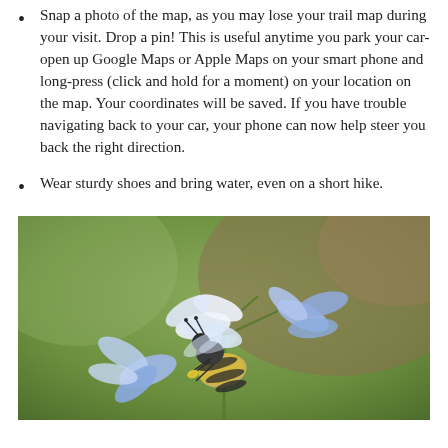Snap a photo of the map, as you may lose your trail map during your visit. Drop a pin! This is useful anytime you park your car- open up Google Maps or Apple Maps on your smart phone and long-press (click and hold for a moment) on your location on the map. Your coordinates will be saved. If you have trouble navigating back to your car, your phone can now help steer you back the right direction.
Wear sturdy shoes and bring water, even on a short hike.
[Figure (photo): Close-up photograph of a bumblebee on blue and white flowers (likely scilla or similar small blue flowers), with a blurred green and brown background.]